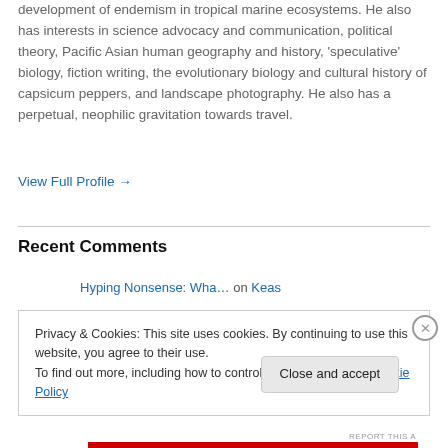development of endemism in tropical marine ecosystems. He also has interests in science advocacy and communication, political theory, Pacific Asian human geography and history, 'speculative' biology, fiction writing, the evolutionary biology and cultural history of capsicum peppers, and landscape photography. He also has a perpetual, neophilic gravitation towards travel.
View Full Profile →
Recent Comments
Hyping Nonsense: Wha… on Keas
Privacy & Cookies: This site uses cookies. By continuing to use this website, you agree to their use.
To find out more, including how to control cookies, see here: Cookie Policy
Close and accept